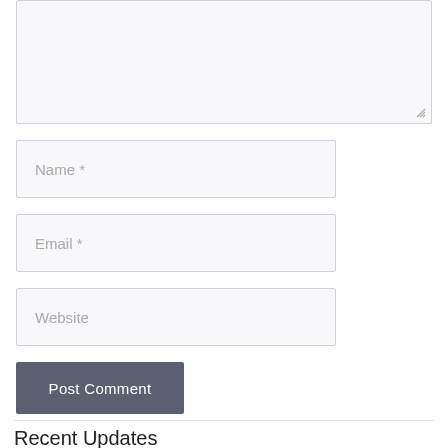[Figure (screenshot): Textarea input field with light gray background and resize handle in bottom-right corner]
[Figure (screenshot): Name text input field with placeholder text 'Name *']
[Figure (screenshot): Email text input field with placeholder text 'Email *']
[Figure (screenshot): Website text input field with placeholder text 'Website']
[Figure (screenshot): Post Comment submit button with dark gray background]
Recent Updates